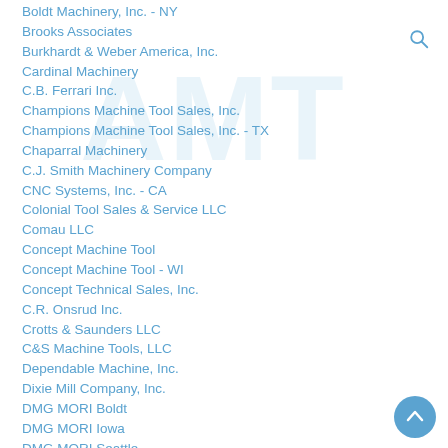Boldt Machinery, Inc. - NY
Brooks Associates
Burkhardt & Weber America, Inc.
Cardinal Machinery
C.B. Ferrari Inc.
Champions Machine Tool Sales, Inc.
Champions Machine Tool Sales, Inc. - TX
Chaparral Machinery
C.J. Smith Machinery Company
CNC Systems, Inc. - CA
Colonial Tool Sales & Service LLC
Comau LLC
Concept Machine Tool
Concept Machine Tool - WI
Concept Technical Sales, Inc.
C.R. Onsrud Inc.
Crotts & Saunders LLC
C&S Machine Tools, LLC
Dependable Machine, Inc.
Dixie Mill Company, Inc.
DMG MORI Boldt
DMG MORI Iowa
DMG MORI Seattle